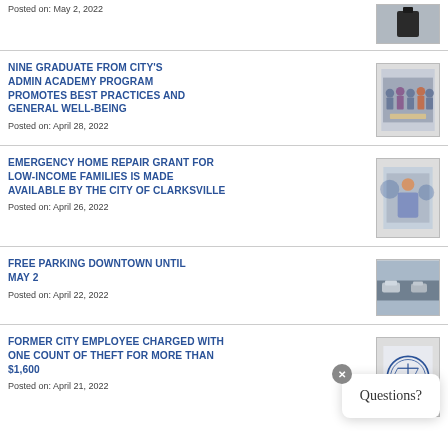Posted on: May 2, 2022
[Figure (photo): Dark object photo thumbnail]
NINE GRADUATE FROM CITY'S ADMIN ACADEMY PROGRAM PROMOTES BEST PRACTICES AND GENERAL WELL-BEING
Posted on: April 28, 2022
[Figure (photo): Group photo of graduates]
EMERGENCY HOME REPAIR GRANT FOR LOW-INCOME FAMILIES IS MADE AVAILABLE BY THE CITY OF CLARKSVILLE
Posted on: April 26, 2022
[Figure (photo): Woman smiling photo]
FREE PARKING DOWNTOWN UNTIL MAY 2
Posted on: April 22, 2022
[Figure (photo): Parking area photo]
FORMER CITY EMPLOYEE CHARGED WITH ONE COUNT OF THEFT FOR MORE THAN $1,600
Posted on: April 21, 2022
[Figure (logo): City of Clarksville official seal]